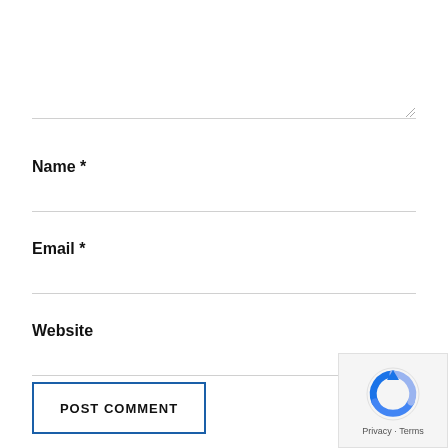Name *
Email *
Website
[Figure (screenshot): POST COMMENT button with blue border and reCAPTCHA badge showing Privacy and Terms]